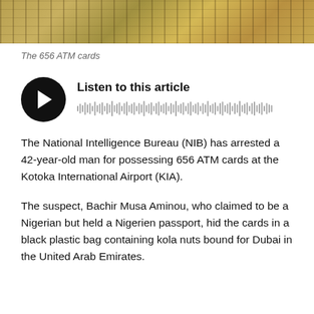[Figure (photo): Top portion of a photo showing stacks of ATM cards on a dark surface]
The 656 ATM cards
[Figure (other): Audio player widget with play button and waveform. Title: Listen to this article]
The National Intelligence Bureau (NIB) has arrested a 42-year-old man for possessing 656 ATM cards at the Kotoka International Airport (KIA).
The suspect, Bachir Musa Aminou, who claimed to be a Nigerian but held a Nigerien passport, hid the cards in a black plastic bag containing kola nuts bound for Dubai in the United Arab Emirates.